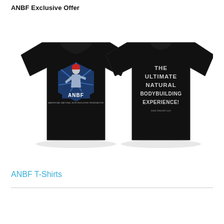ANBF Exclusive Offer
[Figure (photo): Two black ANBF t-shirts shown front and back. Front shirt shows an ANBF logo featuring a muscular figure with a red helmet raised on a blue starburst shield with 'ANBF' text and tagline. Back shirt shows white block text reading 'THE ULTIMATE NATURAL BODYBUILDING EXPERIENCE!' with small website URL below.]
ANBF T-Shirts